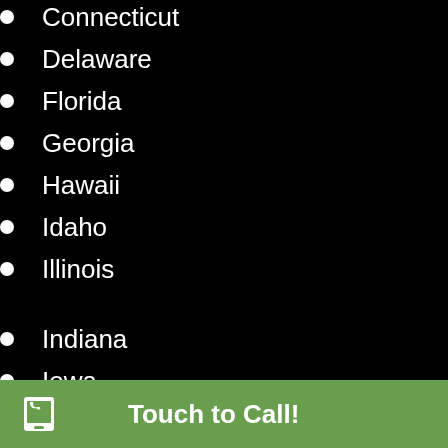Connecticut
Delaware
Florida
Georgia
Hawaii
Idaho
Illinois
Indiana
Iowa
Kansas
Kentucky
Louisiana
Maine
Maryland
Massachusetts
Touch to Call!